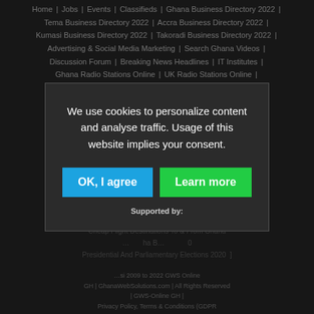Home | Jobs | Events | Classifieds | Ghana Business Directory 2022 | Tema Business Directory 2022 | Accra Business Directory 2022 | Kumasi Business Directory 2022 | Takoradi Business Directory 2022 | Advertising & Social Media Marketing | Search Ghana Videos | Discussion Forum | Breaking News Headlines | IT Institutes | Ghana Radio Stations Online | UK Radio Stations Online | Telephone Codes | Hex 2 RGBA | UCMAS Ghana Abacus | Trending In Ghana On Twitter Now | Ghana Expatriate Forum | Play Games | Watch Live Local TV | Watch Live Foreign TV | Ghana Google Trends | Ghana Places Location Finder |
We use cookies to personalize content and analyse traffic. Usage of this website implies your consent.
OK, I agree
Learn more
Supported by: ... 2009 to 2022 GWS Online GH | GhanaWebSolutions.com | All Rights Reserved | GWS-Online GH | Privacy Policy, Terms & Conditions (GDPR